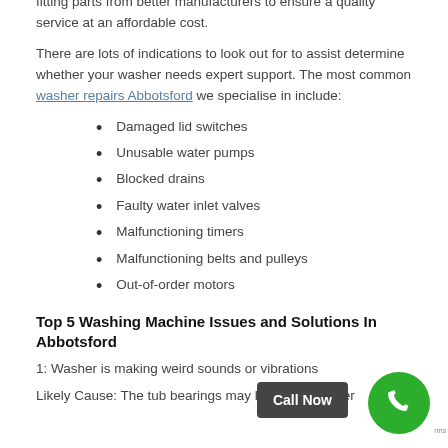fitting parts from better manufacturers to ensure a quality service at an affordable cost.
There are lots of indications to look out for to assist determine whether your washer needs expert support. The most common washer repairs Abbotsford we specialise in include:
Damaged lid switches
Unusable water pumps
Blocked drains
Faulty water inlet valves
Malfunctioning timers
Malfunctioning belts and pulleys
Out-of-order motors
Top 5 Washing Machine Issues and Solutions In Abbotsford
1: Washer is making weird sounds or vibrations
Likely Cause: The tub bearings may have been water...